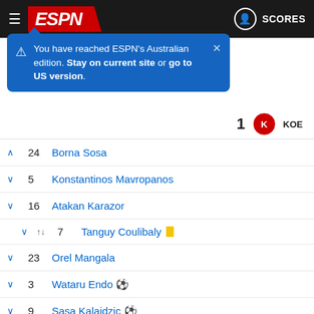ESPN - SCORES
You have reached ESPN's Australian edition. Stay on current site or go to US version.
24  Borna Sosa
5  Konstantinos Mavropanos
16  Atakan Karazor
7  Tanguy Coulibaly [yellow card]
23  Orel Mangala
3  Wataru Endo [goal]
9  Sasa Kalajdzic [goal]
18  Tiago Tomas
17  Omar Marmoush
22  Chris Führich
11  Erik Thommy
30  Roberto Massimo
SUBSTITUTES